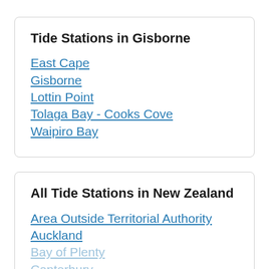Tide Stations in Gisborne
East Cape
Gisborne
Lottin Point
Tolaga Bay - Cooks Cove
Waipiro Bay
All Tide Stations in New Zealand
Area Outside Territorial Authority
Auckland
Bay of Plenty
Canterbury
Chatham Island Territory